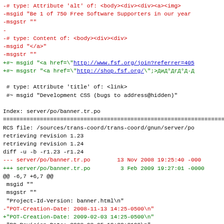-# type: Attribute 'alt' of: <body><div><div><a><img>
-msgid "Be 1 of 750 Free Software Supporters in our year
-msgstr ""
-
-# type: Content of: <body><div><div>
-msgid "</a>"
-msgstr ""
+#~ msgid "<a href=\"http://www.fsf.org/join?referrer=405
+#~ msgstr "<a href=\"http://shop.fsf.org/\";>Ð Ð°Ð³Ð°Ð·Ð·Ð¸Ð½

 # type: Attribute 'title' of: <link>
 #~ msgid "Development CSS (bugs to address@hidden)"

Index: server/po/banner.tr.po
============================
RCS file: /sources/trans-coord/trans-coord/gnun/server/po
retrieving revision 1.23
retrieving revision 1.24
diff -u -b -r1.23 -r1.24
--- server/po/banner.tr.po        13 Nov 2008 19:25:40 -000
+++ server/po/banner.tr.po         3 Feb 2009 19:27:01 -0000
@@ -6,7 +6,7 @@
 msgid ""
 msgstr ""
 "Project-Id-Version: banner.html\n"
-"POT-Creation-Date: 2008-11-13 14:25-0500\n"
+"POT-Creation-Date: 2009-02-03 14:25-0500\n"
 "PO-Revision-Date: 2008-03-05 10:22+0100\n"
 "Last-Translator: Ali Servet DÃ¶nmez <address@hidden>\n'
 "Language-Team: Turkish <address@hidden>\n"